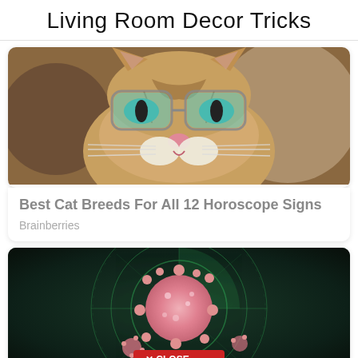Living Room Decor Tricks
[Figure (photo): Close-up photo of a tabby cat wearing green-tinted glasses, looking forward with teal eyes]
Best Cat Breeds For All 12 Horoscope Signs
Brainberries
[Figure (photo): Dark background image showing a pink coronavirus particle on a radar/tracking screen with green circular lines, with a red CLOSE button at the bottom]